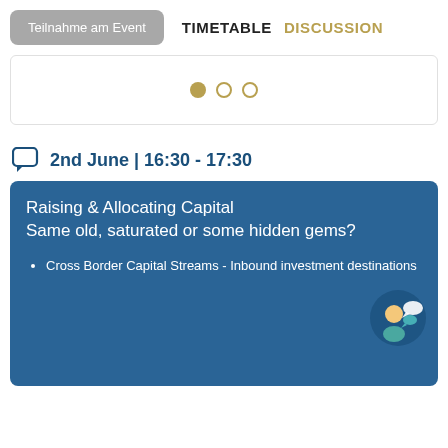Teilnahme am Event   TIMETABLE   DISCUSSION
[Figure (other): Carousel pagination dots: one filled gold dot and two empty gold-outline dots]
2nd June | 16:30 - 17:30
Raising & Allocating Capital Same old, saturated or some hidden gems?
Cross Border Capital Streams - Inbound investment destinations